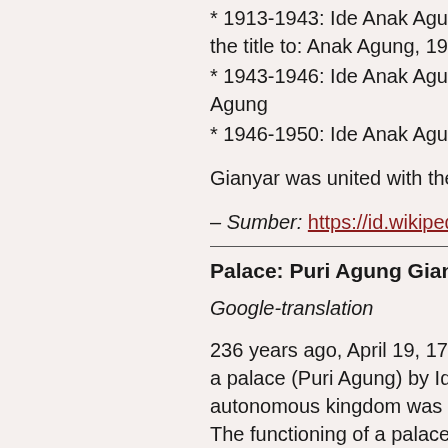* 1913-1943: Ide Anak Agung N... the title to: Anak Agung, 1913-1...
* 1943-1946: Ide Anak Agung G... Agung
* 1946-1950: Ide Anak Agung G...
Gianyar was united with the Re...
– Sumber: https://id.wikipedia.o...
Palace: Puri Agung Gianyar
Google-translation
236 years ago, April 19, 1771, a palace (Puri Agung) by Ida De... autonomous kingdom was born... The functioning of a palace, na... determined by the niskala seka... milestone that has been built by... Dewata Manggis Sakti.